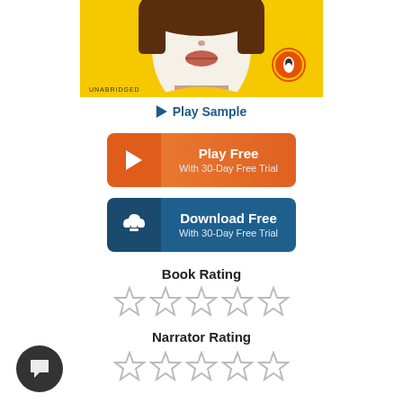[Figure (illustration): Book cover showing a stylized illustration of a woman's face with brown hair against a yellow background, with a Penguin Books logo in the bottom right and 'UNABRIDGED' text in the bottom left]
▶ Play Sample
[Figure (infographic): Orange button with play icon labeled 'Play Free' and 'With 30-Day Free Trial']
[Figure (infographic): Blue button with download cloud icon labeled 'Download Free' and 'With 30-Day Free Trial']
Book Rating
[Figure (other): Five empty/outline star rating icons for Book Rating]
Narrator Rating
[Figure (other): Five empty/outline star rating icons for Narrator Rating]